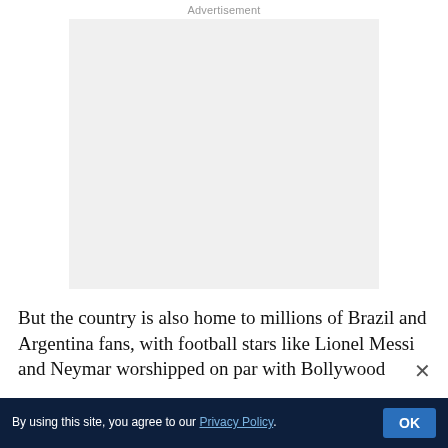Advertisement
[Figure (other): Gray advertisement placeholder box]
But the country is also home to millions of Brazil and Argentina fans, with football stars like Lionel Messi and Neymar worshipped on par with Bollywood
By using this site, you agree to our Privacy Policy. OK